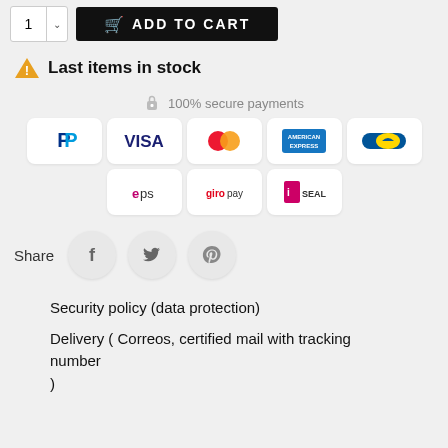[Figure (screenshot): Add to cart button with quantity selector]
Last items in stock
🔒 100% secure payments
[Figure (infographic): Payment method icons: PayPal, Visa, Mastercard, American Express, Bancontact, eps, giropay, iDEAL]
Share
[Figure (infographic): Social share icons: Facebook, Twitter, Pinterest]
Security policy (data protection)
Delivery ( Correos, certified mail with tracking number )